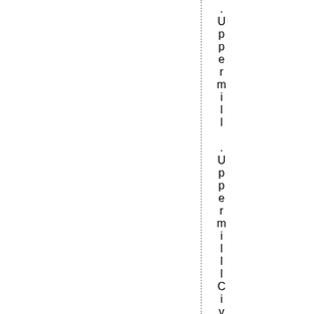.Upper mill .Uppermilll Civic u